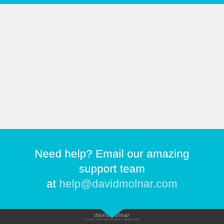[Figure (other): Top cyan decorative bar across the page]
Need help? Email our amazing support team at help@davidmolnar.com
[Figure (other): David Molnar Your Photography Mentor logo in dark footer]